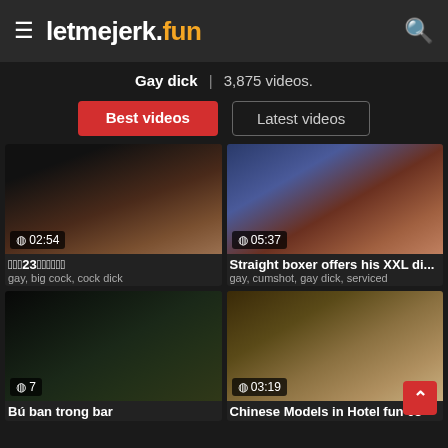letmejerk.fun
Gay dick | 3,875 videos.
Best videos
Latest videos
[Figure (screenshot): Video thumbnail showing duration 02:54]
23
gay, big cock, cock dick
[Figure (screenshot): Video thumbnail showing duration 05:37]
Straight boxer offers his XXL di...
gay, cumshot, gay dick, serviced
[Figure (screenshot): Video thumbnail showing duration 7]
Bú ban trong bar
[Figure (screenshot): Video thumbnail showing duration 03:19]
Chinese Models in Hotel fun 08